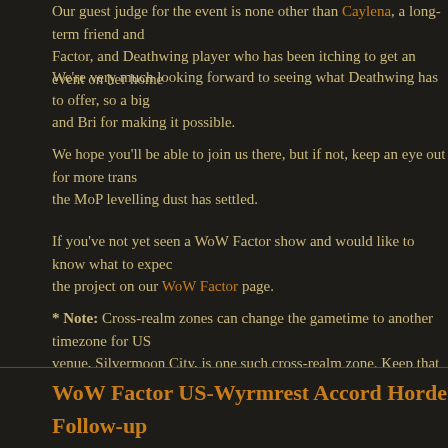Our guest judge for the event is none other than Caylena, a long-term friend and Factor, and Deathwing player who has been itching to get an event on her home
We're very much looking forward to seeing what Deathwing has to offer, so a big and Bri for making it possible.
We hope you'll be able to join us there, but if not, keep an eye out for more trans the MoP levelling dust has settled.
If you've not yet seen a WoW Factor show and would like to know what to expec the project on our WoW Factor page.
* Note: Cross-realm zones can change the gametime to another timezone for US venue, Silvermoon City, is one such cross-realm zone. Keep that in mind if you're event!
Tags: Brilynn, Caylena, Deathwing, Thoranar, Transmog, Transmogrification, Wo
Posted in Events | No Comments »
WoW Factor US-Wyrmrest Accord Horde Follow-up